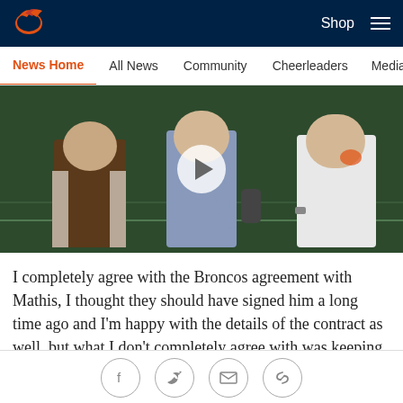Shop  ☰
News Home  All News  Community  Cheerleaders  Media Room
[Figure (screenshot): Video thumbnail showing three men standing on a football field at night, with a play button overlay. The middle man is holding a microphone toward the man on the right who is wearing a Denver Broncos polo shirt.]
I completely agree with the Broncos agreement with Mathis, I thought they should have signed him a long time ago and I'm happy with the details of the contract as well, but what I don't completely agree with was keeping Curtis Marsh and Bennie Fowler instead of